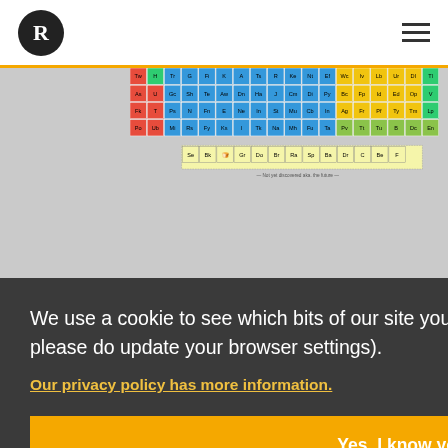R (logo) | hamburger menu
[Figure (illustration): Periodic table of elements with custom/fictional element symbols in colored cells (red, green, yellow-green, yellow). Bottom row labeled 'Not yet discovered aka. the future'.]
We use a cookie to see which bits of our site you like, so we can make more of it (if that's not cool, please do update your browser settings).
Our privacy policy has more information.
Yes, I know you use cookies
R2R research shows how some brands with